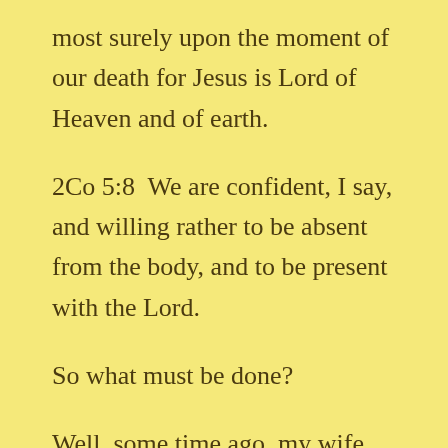most surely upon the moment of our death for Jesus is Lord of Heaven and of earth.
2Co 5:8  We are confident, I say, and willing rather to be absent from the body, and to be present with the Lord.
So what must be done?
Well, some time ago, my wife and I experienced marital difficulties. Seemed we could not get along, and no matter what she did, I just wanted out of the relationship. I just